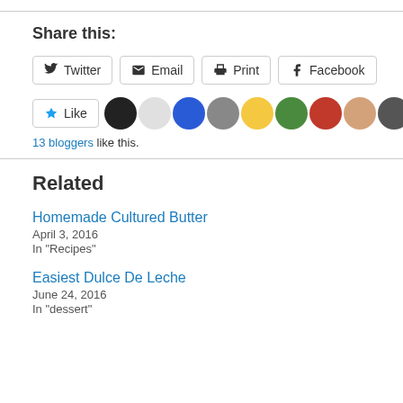Share this:
Twitter  Email  Print  Facebook
Like  [avatars]  13 bloggers like this.
Related
Homemade Cultured Butter
April 3, 2016
In "Recipes"
Easiest Dulce De Leche
June 24, 2016
In "dessert"